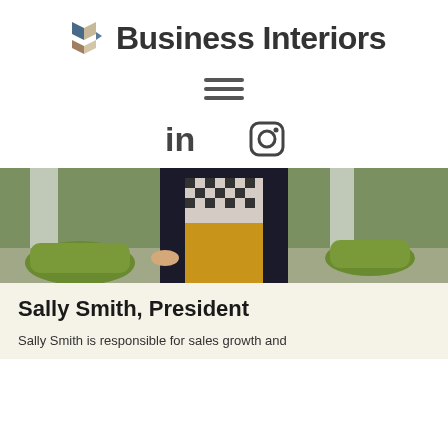[Figure (logo): Business Interiors logo with geometric block icon and bold text]
[Figure (infographic): Hamburger menu navigation icon (three horizontal lines)]
[Figure (infographic): LinkedIn and Instagram social media icons]
[Figure (photo): Person in black blazer, patterned top, and yellow/mustard trousers standing among green chairs in an office/interior setting]
Sally Smith, President
Sally Smith is responsible for sales growth and